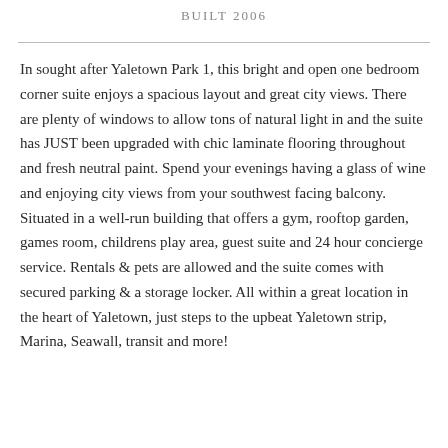BUILT 2006
In sought after Yaletown Park 1, this bright and open one bedroom corner suite enjoys a spacious layout and great city views. There are plenty of windows to allow tons of natural light in and the suite has JUST been upgraded with chic laminate flooring throughout and fresh neutral paint. Spend your evenings having a glass of wine and enjoying city views from your southwest facing balcony. Situated in a well-run building that offers a gym, rooftop garden, games room, childrens play area, guest suite and 24 hour concierge service. Rentals & pets are allowed and the suite comes with secured parking & a storage locker. All within a great location in the heart of Yaletown, just steps to the upbeat Yaletown strip, Marina, Seawall, transit and more!